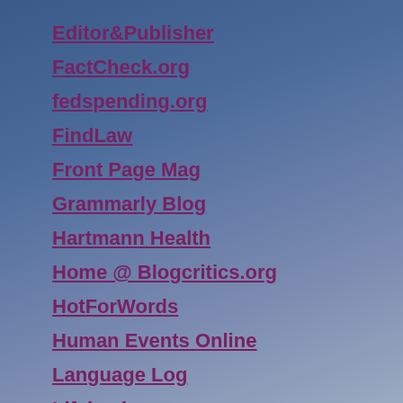Editor&Publisher
FactCheck.org
fedspending.org
FindLaw
Front Page Mag
Grammarly Blog
Hartmann Health
Home @ Blogcritics.org
HotForWords
Human Events Online
Language Log
Lifehacker
Lucianne
memeorandum
Modern Mechanix